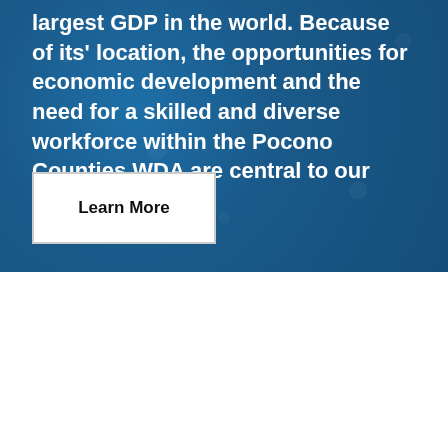largest GDP in the world. Because of its' location, the opportunities for economic development and the need for a skilled and diverse workforce within the Pocono Counties WDA are central to our mission.
Learn More
We use cookies on our website to give you the most relevant experience by remembering your preferences and repeat visits. By clicking “Accept All”, you consent to the use of ALL the cookies. However, you may visit "Cookie Settings" to provide a controlled consent.
Cookie Settings
Accept All